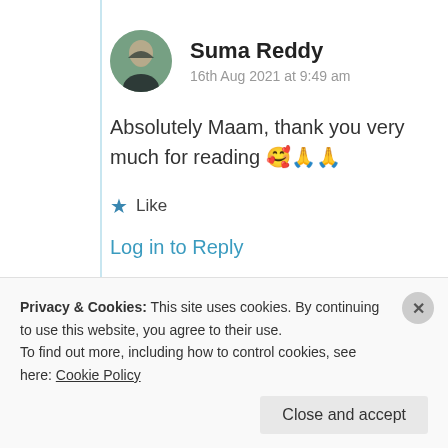Suma Reddy
16th Aug 2021 at 9:49 am
Absolutely Maam, thank you very much for reading 🤩🙏🙏
★ Like
Log in to Reply
Privacy & Cookies: This site uses cookies. By continuing to use this website, you agree to their use.
To find out more, including how to control cookies, see here: Cookie Policy
Close and accept